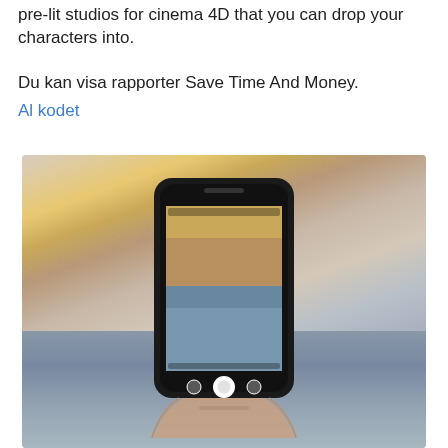pre-lit studios for cinema 4D that you can drop your characters into.
Du kan visa rapporter Save Time And Money.
Al kodet
[Figure (photo): A hand holding a smartphone photographing a dramatic sunset over the ocean. The phone screen displays the same seascape scene. The background shows a wide sky with clouds lit by warm golden light, and rocky shoreline with calm water.]